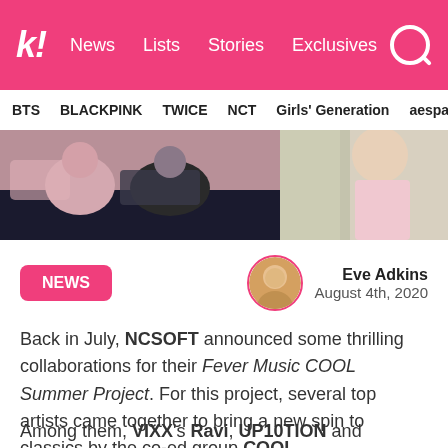k! News Lists Stories Exclusives
BTS BLACKPINK TWICE NCT Girls' Generation aespa
[Figure (photo): Two photo panels: left shows people sitting together in casual clothing, right shows a person in a pink dress standing near a wall]
NEWS
Eve Adkins
August 4th, 2020
Back in July, NCSOFT announced some thrilling collaborations for their Fever Music COOL Summer Project. For this project, several top artists came together to bring a new spin to classics by the co-ed group COOL.
Among them, VIXX's Ravi, UP10TION and